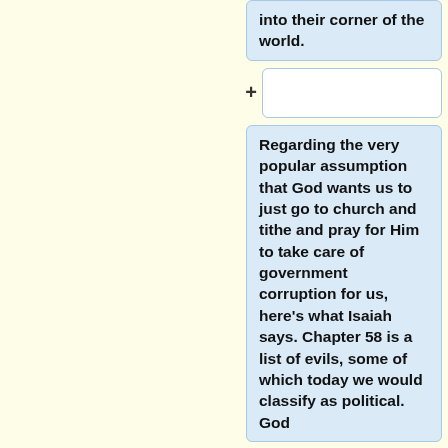into their corner of the world.
Regarding the very popular assumption that God wants us to just go to church and tithe and pray for Him to take care of government corruption for us, here's what Isaiah says. Chapter 58 is a list of evils, some of which today we would classify as political. God